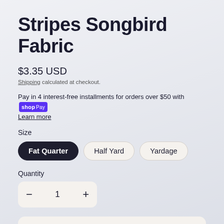Stripes Songbird Fabric
$3.35 USD
Shipping calculated at checkout.
Pay in 4 interest-free installments for orders over $50 with shop Pay
Learn more
Size
Fat Quarter | Half Yard | Yardage
Quantity
1
Add to cart